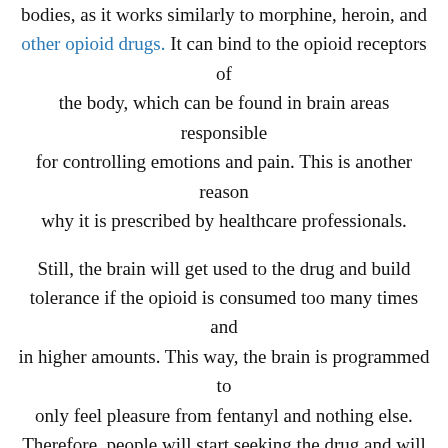bodies, as it works similarly to morphine, heroin, and other opioid drugs. It can bind to the opioid receptors of the body, which can be found in brain areas responsible for controlling emotions and pain. This is another reason why it is prescribed by healthcare professionals.
Still, the brain will get used to the drug and build tolerance if the opioid is consumed too many times and in higher amounts. This way, the brain is programmed to only feel pleasure from fentanyl and nothing else. Therefore, people will start seeking the drug and will be willing to do anything to obtain it.